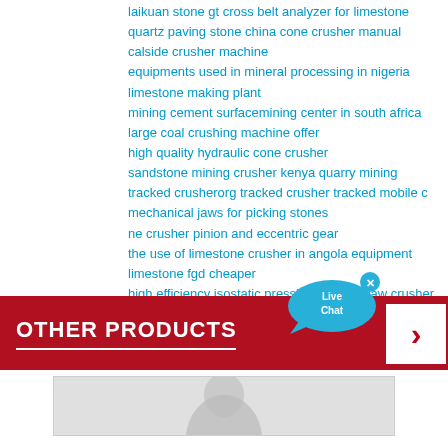laikuan stone gt cross belt analyzer for limestone
quartz paving stone  china cone crusher manual calside crusher machine
equipments used in mineral processing in nigeria
limestone making plant
mining cement surfacemining center in south africa
large coal crushing machine offer
high quality hydraulic cone crusher
sandstone mining crusher  kenya quarry mining
tracked crusherorg tracked crusher tracked mobile c
mechanical jaws for picking stones
ne crusher pinion and eccentric gear
the use of limestone crusher in angola equipment
limestone fgd cheaper
high efficiency isostatic pressing graphite jaw crusher machine
li ne crushers equipment  where is the stone crusher in xi an
jaw crusher india mobile
OTHER PRODUCTS
[Figure (photo): Product image area at the bottom of the page, partially visible]